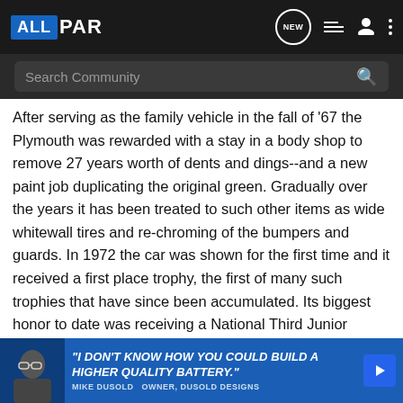ALLPAR — navigation bar with logo, NEW, list, user, and menu icons; Search Community bar
After serving as the family vehicle in the fall of '67 the Plymouth was rewarded with a stay in a body shop to remove 27 years worth of dents and dings--and a new paint job duplicating the original green. Gradually over the years it has been treated to such other items as wide whitewall tires and re-chroming of the bumpers and guards. In 1972 the car was shown for the first time and it received a first place trophy, the first of many such trophies that have since been accumulated. Its biggest honor to date was receiving a National Third Junior award at the 1978 AACA Judging Meet held in Grand Forks, North Dakota. The car had not even been formerly entered but it was taken at the last minute when the planned car was not completed in time for the show. The only preparation done for the meet was vacuuming the interior and washing the car, and it did not even ge
[Figure (other): Advertisement banner: person in glasses on dark background, bold italic text reading '"I DON'T KNOW HOW YOU COULD BUILD A HIGHER QUALITY BATTERY."' — MIKE DUSOLD, OWNER, DUSOLD DESIGNS, on blue background with play button icon]